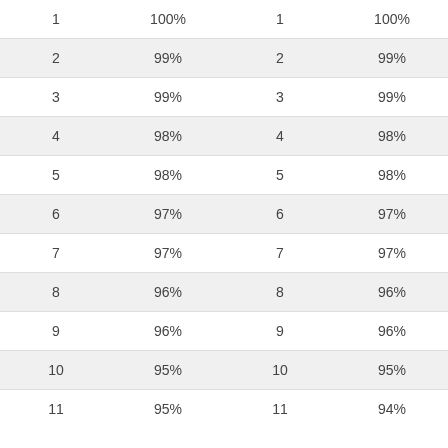| 1 | 100% | 1 | 100% |
| 2 | 99% | 2 | 99% |
| 3 | 99% | 3 | 99% |
| 4 | 98% | 4 | 98% |
| 5 | 98% | 5 | 98% |
| 6 | 97% | 6 | 97% |
| 7 | 97% | 7 | 97% |
| 8 | 96% | 8 | 96% |
| 9 | 96% | 9 | 96% |
| 10 | 95% | 10 | 95% |
| 11 | 95% | 11 | 94% |